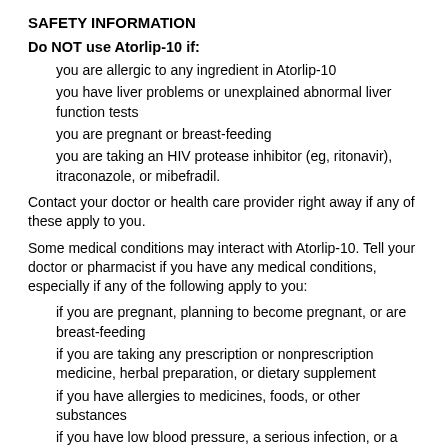SAFETY INFORMATION
Do NOT use Atorlip-10 if:
you are allergic to any ingredient in Atorlip-10
you have liver problems or unexplained abnormal liver function tests
you are pregnant or breast-feeding
you are taking an HIV protease inhibitor (eg, ritonavir), itraconazole, or mibefradil.
Contact your doctor or health care provider right away if any of these apply to you.
Some medical conditions may interact with Atorlip-10. Tell your doctor or pharmacist if you have any medical conditions, especially if any of the following apply to you:
if you are pregnant, planning to become pregnant, or are breast-feeding
if you are taking any prescription or nonprescription medicine, herbal preparation, or dietary supplement
if you have allergies to medicines, foods, or other substances
if you have low blood pressure, a serious infection, or a history of seizures
if you have metabolism, hormonal, or electrolyte problems
if you drink alcohol or have a history of liver problems or alcohol abuse
if you have recently had major surgery, a serious injury, or a stroke.